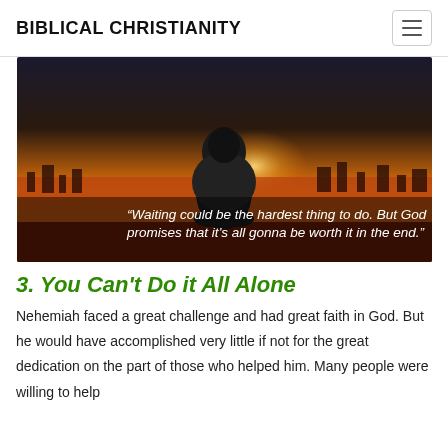BIBLICAL CHRISTIANITY
[Figure (photo): Person sitting on a ledge viewed from behind, overlooking a city at sunset with warm orange/golden tones. Overlaid white italic text reads: "Waiting could be the hardest thing to do. But God promises that it's all gonna be worth it in the end."]
3. You Can’t Do it All Alone
Nehemiah faced a great challenge and had great faith in God. But he would have accomplished very little if not for the great dedication on the part of those who helped him. Many people were willing to help